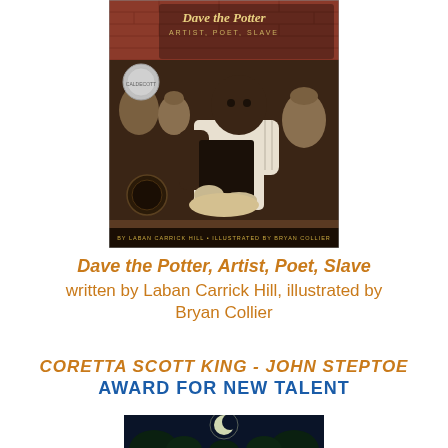[Figure (illustration): Book cover of 'Dave the Potter, Artist, Poet, Slave' illustrated by Bryan Collier showing a Black man working clay at a potter's wheel. Title in decorative script at top, Caldecott Honor and Coretta Scott King Honor medals visible on cover. Author credited as Laban Carrick Hill and illustrator Bryan Collier at bottom.]
Dave the Potter, Artist, Poet, Slave written by Laban Carrick Hill, illustrated by Bryan Collier
CORETTA SCOTT KING - JOHN STEPTOE AWARD FOR NEW TALENT
[Figure (illustration): Partial view of a nighttime scene book cover with trees silhouetted against a moonlit sky, shown at bottom of page.]